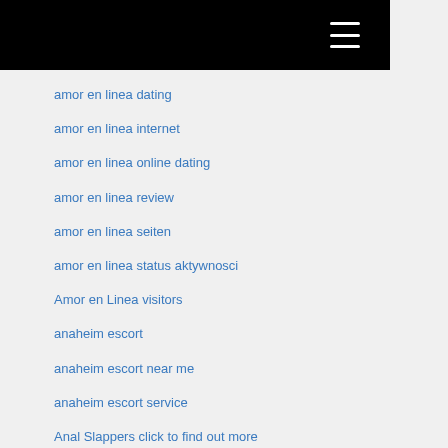amor en linea dating
amor en linea internet
amor en linea online dating
amor en linea review
amor en linea seiten
amor en linea status aktywnosci
Amor en Linea visitors
anaheim escort
anaheim escort near me
anaheim escort service
Anal Slappers click to find out more
Anal Slappers over here
anastasiadate come funziona